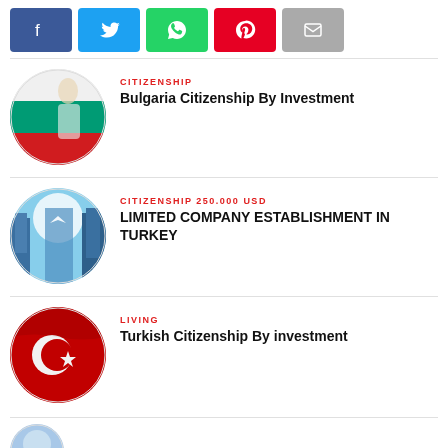[Figure (infographic): Social media share buttons: Facebook (blue), Twitter (cyan), WhatsApp (green), Pinterest (red), Email (gray)]
CITIZENSHIP
Bulgaria Citizenship By Investment
[Figure (photo): Circular image of a woman against the Bulgarian flag (white, green, red stripes)]
CITIZENSHIP 250.000 USD
LIMITED COMPANY ESTABLISHMENT IN TURKEY
[Figure (photo): Circular image of skyscrapers with a bird/airplane in sky]
LIVING
Turkish Citizenship By investment
[Figure (photo): Circular image of Turkish flag (red with white crescent and star)]
[Figure (photo): Partial circular image at bottom of page, light blue tones]